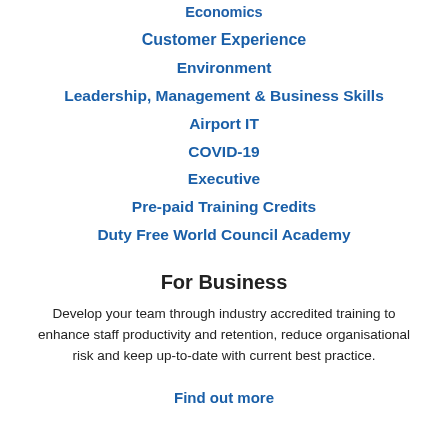Economics
Customer Experience
Environment
Leadership, Management & Business Skills
Airport IT
COVID-19
Executive
Pre-paid Training Credits
Duty Free World Council Academy
For Business
Develop your team through industry accredited training to enhance staff productivity and retention, reduce organisational risk and keep up-to-date with current best practice.
Find out more